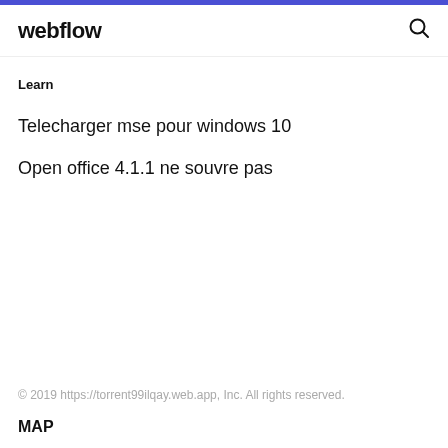webflow
Learn
Telecharger mse pour windows 10
Open office 4.1.1 ne souvre pas
© 2019 https://torrent99ilqay.web.app, Inc. All rights reserved.
MAP